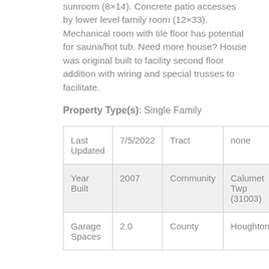sunroom (8×14). Concrete patio accesses by lower level family room (12×33). Mechanical room with tile floor has potential for sauna/hot tub. Need more house? House was original built to facility second floor addition with wiring and special trusses to facilitate.
Property Type(s): Single Family
|  |  |  |  |
| --- | --- | --- | --- |
| Last Updated | 7/5/2022 | Tract | none |
| Year Built | 2007 | Community | Calumet Twp (31003) |
| Garage Spaces | 2.0 | County | Houghton |